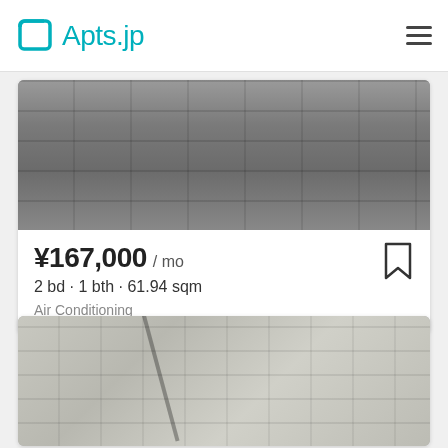Apts.jp
[Figure (photo): Exterior photo of a grey concrete apartment building in Japan, showing balconies and air conditioning units]
¥167,000 / mo
2 bd · 1 bth · 61.94 sqm
Air Conditioning
[Figure (photo): Exterior photo of a white/beige multi-story apartment building in Japan with rounded balconies, shot from ground level at an angle]